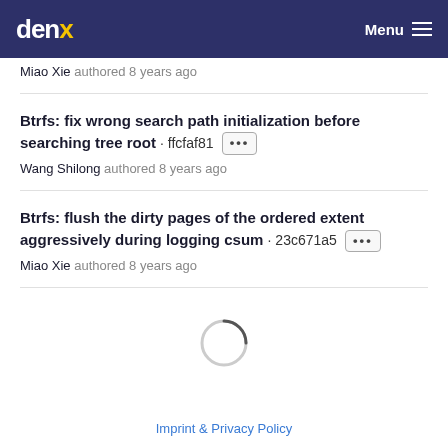denx Menu
Miao Xie authored 8 years ago
Btrfs: fix wrong search path initialization before searching tree root · ffcfaf81 ···
Wang Shilong authored 8 years ago
Btrfs: flush the dirty pages of the ordered extent aggressively during logging csum · 23c671a5 ···
Miao Xie authored 8 years ago
[Figure (other): Loading spinner circle]
Imprint & Privacy Policy